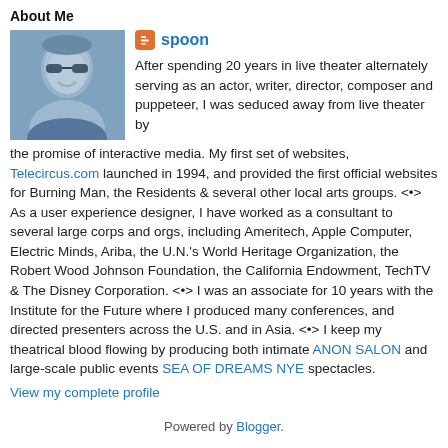About Me
[Figure (photo): Profile photo of a man with dark glasses, blue-tinted image]
spoon
After spending 20 years in live theater alternately serving as an actor, writer, director, composer and puppeteer, I was seduced away from live theater by the promise of interactive media. My first set of websites, Telecircus.com launched in 1994, and provided the first official websites for Burning Man, the Residents & several other local arts groups. <•> As a user experience designer, I have worked as a consultant to several large corps and orgs, including Ameritech, Apple Computer, Electric Minds, Ariba, the U.N.'s World Heritage Organization, the Robert Wood Johnson Foundation, the California Endowment, TechTV & The Disney Corporation. <•> I was an associate for 10 years with the Institute for the Future where I produced many conferences, and directed presenters across the U.S. and in Asia. <•> I keep my theatrical blood flowing by producing both intimate ANON SALON and large-scale public events SEA OF DREAMS NYE spectacles.
View my complete profile
Powered by Blogger.